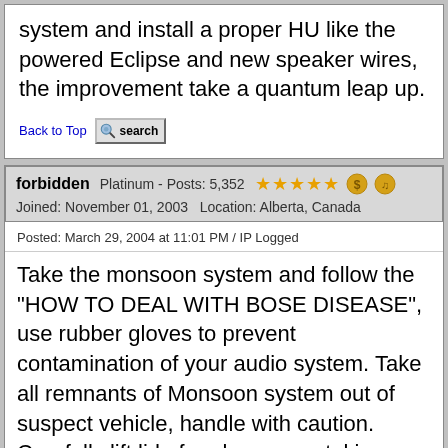system and install a proper HU like the powered Eclipse and new speaker wires, the improvement take a quantum leap up.
Back to Top [search]
forbidden   Platinum - Posts: 5,352   ★★★★★   Joined: November 01, 2003   Location: Alberta, Canada
Posted: March 29, 2004 at 11:01 PM / IP Logged
Take the monsoon system and follow the "HOW TO DEAL WITH BOSE DISEASE", use rubber gloves to prevent contamination of your audio system. Take all remnants of Monsoon system out of suspect vehicle, handle with caution. Carefully lift lid of garbage can, taking care that no BOSE equipment makes a break for freedom. Replace lid. Take garbage can when full out to desolate and isolated area, empty and run over until all items are broken into tiny unidentifyable pieces, then burn and bury the ashes. Hope this helps with the dreaded and uncontrolled audio diseases that we all face on a all too regular basis.